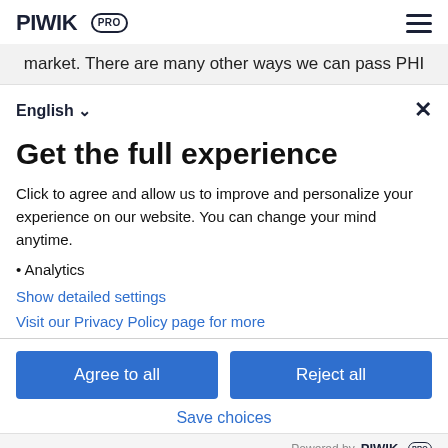PIWIK PRO
market. There are many other ways we can pass PHI
English ✓
Get the full experience
Click to agree and allow us to improve and personalize your experience on our website. You can change your mind anytime.
• Analytics
Show detailed settings
Visit our Privacy Policy page for more
Agree to all
Reject all
Save choices
Powered by PIWIK PRO